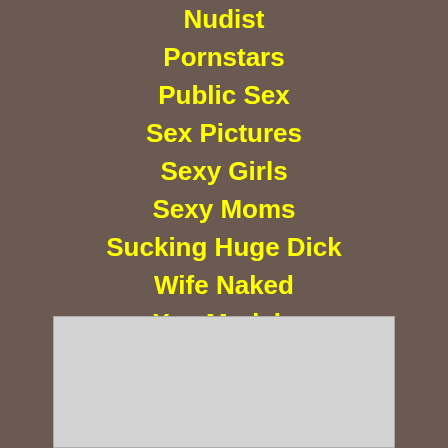Nudist
Pornstars
Public Sex
Sex Pictures
Sexy Girls
Sexy Moms
Sucking Huge Dick
Wife Naked
Xxx Models
[Figure (other): Gray rectangle placeholder box at bottom center of page]